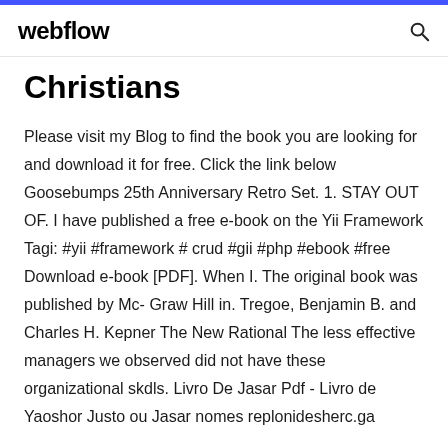webflow
Christians
Please visit my Blog to find the book you are looking for and download it for free. Click the link below Goosebumps 25th Anniversary Retro Set. 1. STAY OUT OF. I have published a free e-book on the Yii Framework Tagi: #yii #framework # crud #gii #php #ebook #free Download e-book [PDF]. When I. The original book was published by Mc- Graw Hill in. Tregoe, Benjamin B. and Charles H. Kepner The New Rational The less effective managers we observed did not have these organizational skdls. Livro De Jasar Pdf - Livro de Yaoshor Justo ou Jasar nomes replonidesherc.ga